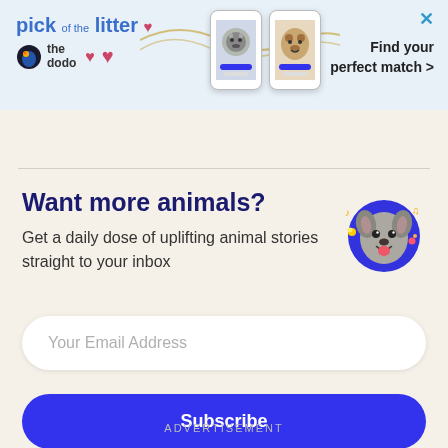[Figure (screenshot): Advertisement banner for 'The Dodo' pet adoption app — 'pick of the litter' with cat and dog phone screenshots and text 'Find your perfect match >']
Want more animals?
Get a daily dose of uplifting animal stories straight to your inbox
[Figure (illustration): Circular blue badge with a happy dog making a funny face, surrounded by small musical note and sparkle emojis]
Your Email Address
Subscribe
By signing up, I agree to the Terms and Privacy Policy.
ADVERTISEMENT